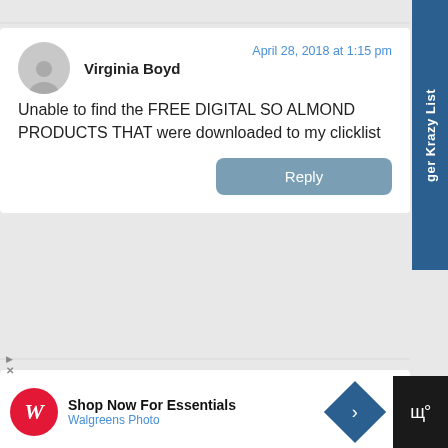ger Krazy List
Virginia Boyd
April 28, 2018 at 1:15 pm
Unable to find the FREE DIGITAL SO ALMOND PRODUCTS THAT were downloaded to my clicklist
Reply
Thomas A. Somerfield
Shop Now For Essentials
Walgreens Photo